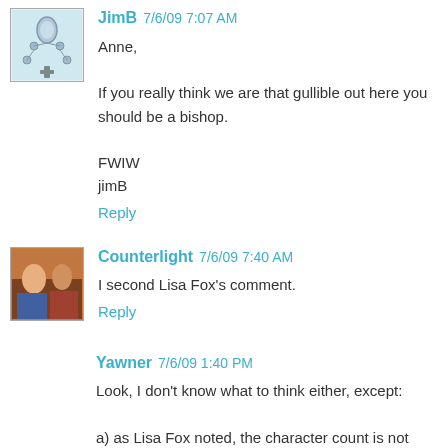[Figure (photo): Avatar image showing a rosary/beads on light blue background]
JimB 7/6/09 7:07 AM
Anne,

If you really think we are that gullible out here you should be a bishop.

FWIW
jimB
Reply
[Figure (photo): Avatar image showing a colorful photograph of people]
Counterlight 7/6/09 7:40 AM
I second Lisa Fox's comment.
Reply
Yawner 7/6/09 1:40 PM
Look, I don't know what to think either, except:

a) as Lisa Fox noted, the character count is not shorter, so